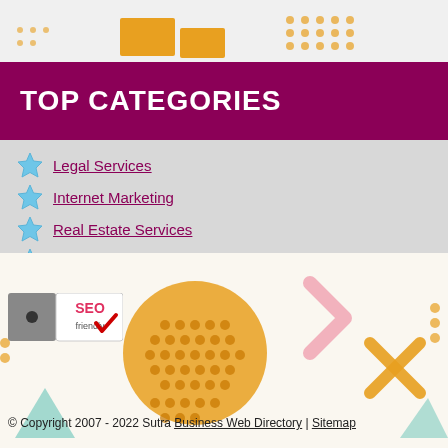TOP CATEGORIES
Legal Services
Internet Marketing
Real Estate Services
Home Services
Business & Services
Online Shopping
Dental Health
Cosmetic Surgery
Alternative Medicine
Travel & Services
[Figure (logo): SEO friendly badge logo with eye graphic]
© Copyright 2007 - 2022 Sutra Business Web Directory | Sitemap